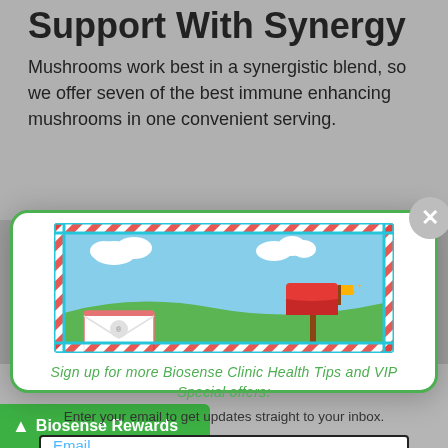Support With Synergy
Mushrooms work best in a synergistic blend, so we offer seven of the best immune enhancing mushrooms in one convenient serving.
[Figure (illustration): Email subscription modal popup with a colorful illustration of a mailbox scene with striped border, an email input field, and a green subscribe button]
Sign up for more Biosense Clinic Health Tips and VIP Special offers:
Enter your email to get updates straight to your inbox.
Email
Subscribe and Save More Today!
No thanks
Biosense Rewards
CTS